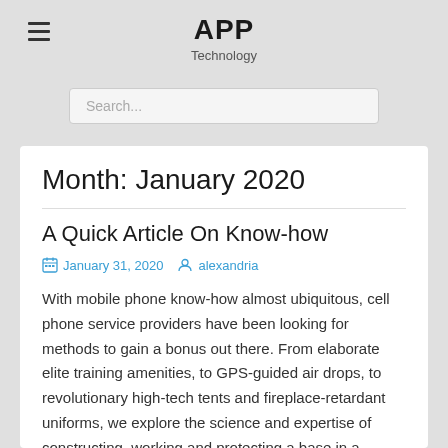APP
Technology
Search...
Month: January 2020
A Quick Article On Know-how
January 31, 2020   alexandria
With mobile phone know-how almost ubiquitous, cell phone service providers have been looking for methods to gain a bonus out there. From elaborate elite training amenities, to GPS-guided air drops, to revolutionary high-tech tents and fireplace-retardant uniforms, we explore the science and expertise of constructing, working and protecting a base in a warzone. The fundamental difference between the brand new